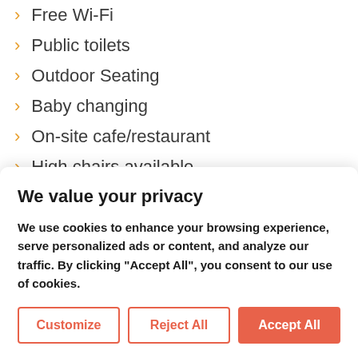Free Wi-Fi
Public toilets
Outdoor Seating
Baby changing
On-site cafe/restaurant
High chairs available
Parking
We value your privacy
We use cookies to enhance your browsing experience, serve personalized ads or content, and analyze our traffic. By clicking "Accept All", you consent to our use of cookies.
Customize | Reject All | Accept All